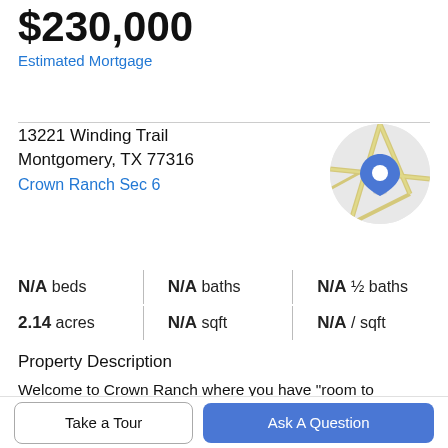$230,000
Estimated Mortgage
13221 Winding Trail
Montgomery, TX 77316
Crown Ranch Sec 6
[Figure (map): Circular map thumbnail showing street map with a blue location pin]
| N/A beds | N/A baths | N/A ½ baths |
| 2.14 acres | N/A sqft | N/A / sqft |
Property Description
Welcome to Crown Ranch where you have "room to breathe ... and a place where you can create the home of your dreams on a huge estate homesite." This 2.14 acre
Take a Tour
Ask A Question